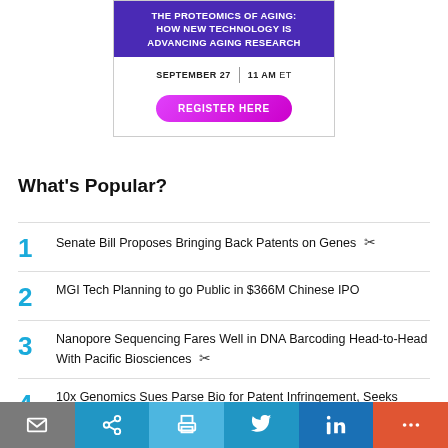[Figure (infographic): Advertisement banner for webinar: 'The Proteomics of Aging: How New Technology is Advancing Aging Research' with date September 27, 11 AM ET and a Register Here button]
What's Popular?
1 Senate Bill Proposes Bringing Back Patents on Genes
2 MGI Tech Planning to go Public in $366M Chinese IPO
3 Nanopore Sequencing Fares Well in DNA Barcoding Head-to-Head With Pacific Biosciences
4 10x Genomics Sues Parse Bio for Patent Infringement, Seeks Injunction